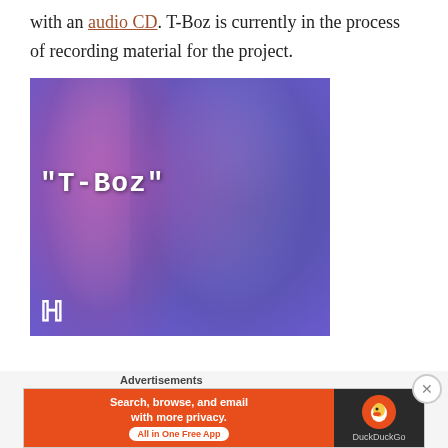with an audio CD. T-Boz is currently in the process of recording material for the project.
[Figure (photo): Album cover image for T-Boz showing two stylized purple-toned portraits of women with the text "T-Boz" in white monospace font overlay]
Advertisements
[Figure (screenshot): DuckDuckGo advertisement banner: orange background with text 'Search, browse, and email with more privacy.' and 'All in One Free App' button, alongside DuckDuckGo duck logo on dark background]